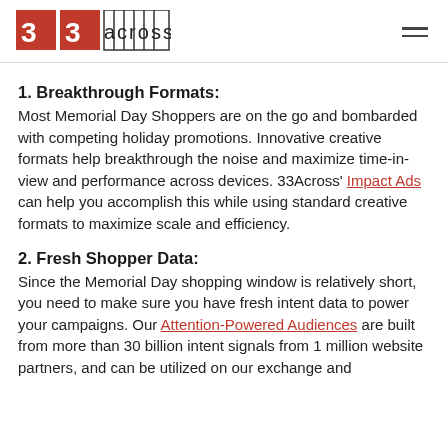33Across logo and navigation
1. Breakthrough Formats:
Most Memorial Day Shoppers are on the go and bombarded with competing holiday promotions. Innovative creative formats help breakthrough the noise and maximize time-in-view and performance across devices. 33Across' Impact Ads can help you accomplish this while using standard creative formats to maximize scale and efficiency.
2. Fresh Shopper Data:
Since the Memorial Day shopping window is relatively short, you need to make sure you have fresh intent data to power your campaigns. Our Attention-Powered Audiences are built from more than 30 billion intent signals from 1 million website partners, and can be utilized on our exchange and